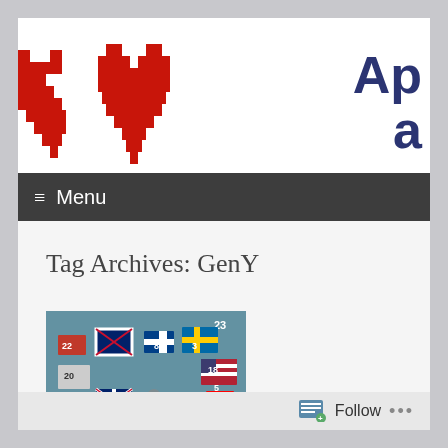[Figure (illustration): Two pixelated red heart shapes on white background, resembling 8-bit video game hearts. Partially cropped left heart and a full center heart.]
Ap
a
≡ Menu
Tag Archives: GenY
[Figure (screenshot): A screenshot showing various country flags with numbers overlaid, on a teal/blue background. Numbers visible include 23, 22, 8, 3, 18, 20, 5, 13, 16, 14.]
Follow ...